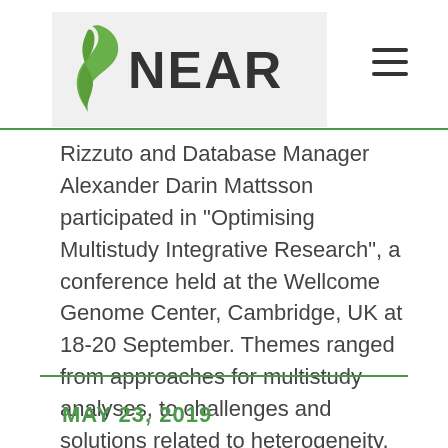NEAR
Rizzuto and Database Manager Alexander Darin Mattsson participated in “Optimising Multistudy Integrative Research”, a conference held at the Wellcome Genome Center, Cambridge, UK at 18-20 September. Themes ranged from approaches for multistudy analyses, to challenges and solutions related to heterogeneity, data sharing, and measurement harmonization. Researchers from several prominent programmes like [...]
MAY 23, 2019